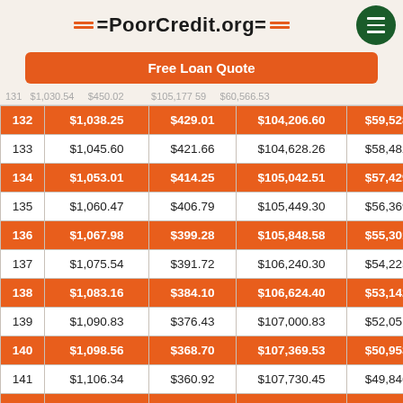PoorCredit.org
Free Loan Quote
|  |  |  |  |  |
| --- | --- | --- | --- | --- |
| 132 | $1,038.25 | $429.01 | $104,206.60 | $59,528.28 |
| 133 | $1,045.60 | $421.66 | $104,628.26 | $58,482.68 |
| 134 | $1,053.01 | $414.25 | $105,042.51 | $57,429.67 |
| 135 | $1,060.47 | $406.79 | $105,449.30 | $56,369.20 |
| 136 | $1,067.98 | $399.28 | $105,848.58 | $55,301.22 |
| 137 | $1,075.54 | $391.72 | $106,240.30 | $54,225.68 |
| 138 | $1,083.16 | $384.10 | $106,624.40 | $53,142.52 |
| 139 | $1,090.83 | $376.43 | $107,000.83 | $52,051.69 |
| 140 | $1,098.56 | $368.70 | $107,369.53 | $50,953.13 |
| 141 | $1,106.34 | $360.92 | $107,730.45 | $49,846.79 |
| 142 | $1,114.18 | $353.08 | $108,083.53 | $48,732.61 |
| 143 | $1,122.07 | $345.19 | $108,428.72 | $47,610.54 |